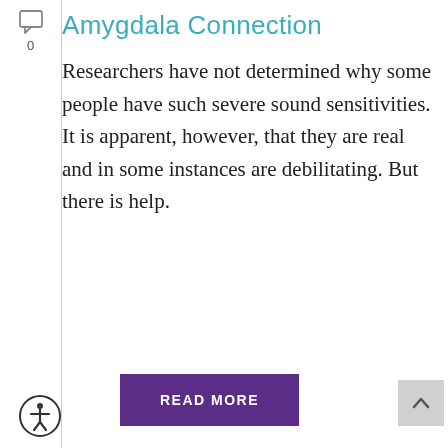Amygdala Connection
Researchers have not determined why some people have such severe sound sensitivities. It is apparent, however, that they are real and in some instances are debilitating. But there is help.
READ MORE